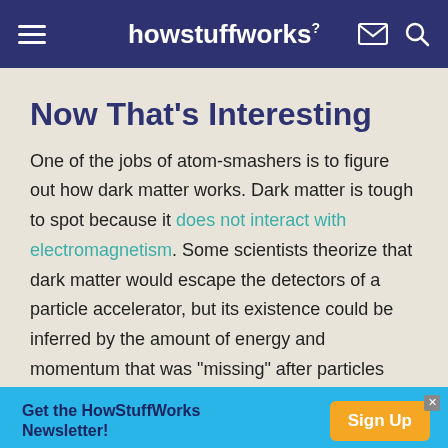howstuffworks
Now That's Interesting
One of the jobs of atom-smashers is to figure out how dark matter works. Dark matter is tough to spot because it does not interact with electromagnetism. Some scientists theorize that dark matter would escape the detectors of a particle accelerator, but its existence could be inferred by the amount of energy and momentum that was "missing" after particles
Get the HowStuffWorks Newsletter! Sign Up